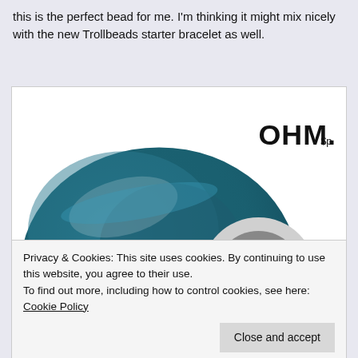this is the perfect bead for me. I'm thinking it might mix nicely with the new Trollbeads starter bracelet as well.
[Figure (photo): Close-up product photo of an OHM bead – a large teal/blue glass bead with silver speckled texture, mounted in a silver OHM-branded metal core with a hole through the center. The OHM logo is visible on the white background of the image.]
Privacy & Cookies: This site uses cookies. By continuing to use this website, you agree to their use.
To find out more, including how to control cookies, see here: Cookie Policy

Close and accept